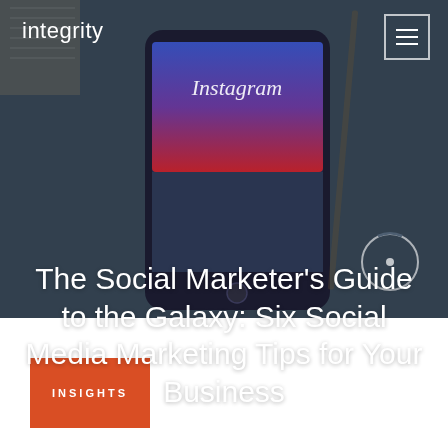[Figure (photo): Hero background image showing a smartphone displaying Instagram app, placed on a notebook/desk surface, with dark overlay tint]
integrity
The Social Marketer's Guide to the Galaxy: Six Social Media Marketing Tips for Your Business
INSIGHTS